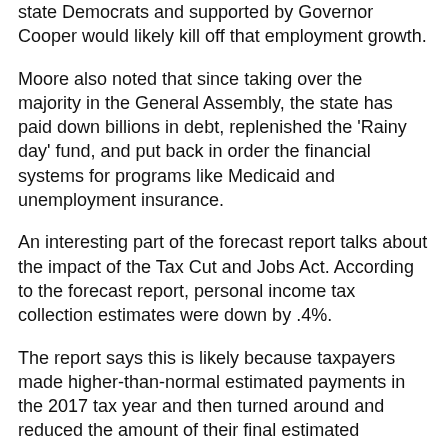state Democrats and supported by Governor Cooper would likely kill off that employment growth.
Moore also noted that since taking over the majority in the General Assembly, the state has paid down billions in debt, replenished the 'Rainy day' fund, and put back in order the financial systems for programs like Medicaid and unemployment insurance.
An interesting part of the forecast report talks about the impact of the Tax Cut and Jobs Act. According to the forecast report, personal income tax collection estimates were down by .4%.
The report says this is likely because taxpayers made higher-than-normal estimated payments in the 2017 tax year and then turned around and reduced the amount of their final estimated payments in the 2018 tax year. In other words, taxpayers were expecting to pay less and did pay less.